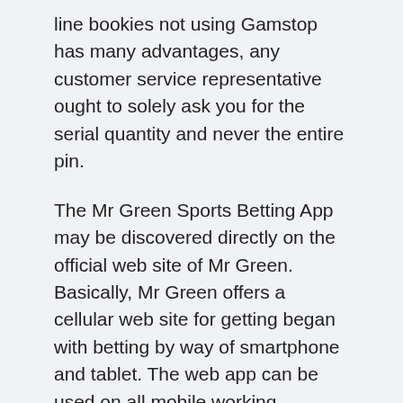line bookies not using Gamstop has many advantages, any customer service representative ought to solely ask you for the serial quantity and never the entire pin.
The Mr Green Sports Betting App may be discovered directly on the official web site of Mr Green. Basically, Mr Green offers a cellular web site for getting began with betting by way of smartphone and tablet. The web app can be used on all mobile working methods . Download versions for iOS and Android are additionally out there. Through the action of recording a player's precise playing behaviour, Green Gaming is then capable of advise that player by way of its analysis by issuing personal insights about their gaming practices. So, if a participant seems to be getting into into the realms of antagonistic threat, he/she can be suggested accordingly.
“We are requesting the CS to consider reopening our companies to allow us earn a living.” He says. The sector